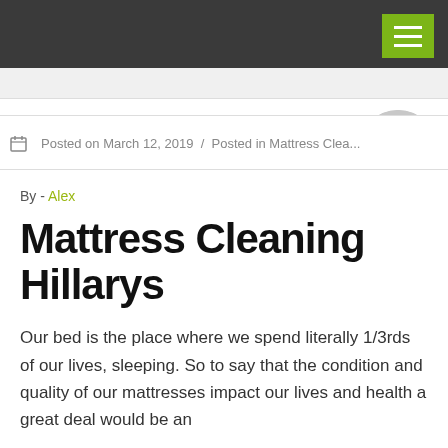[Figure (other): Gray circular avatar/profile image placeholder in top right area of page]
Posted on March 12, 2019 / Posted in Mattress Clea...
By - Alex
Mattress Cleaning Hillarys
Our bed is the place where we spend literally 1/3rds of our lives, sleeping. So to say that the condition and quality of our mattresses impact our lives and health a great deal would be an